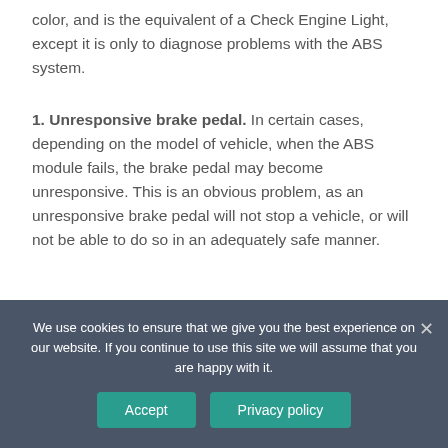color, and is the equivalent of a Check Engine Light, except it is only to diagnose problems with the ABS system.
1. Unresponsive brake pedal. In certain cases, depending on the model of vehicle, when the ABS module fails, the brake pedal may become unresponsive. This is an obvious problem, as an unresponsive brake pedal will not stop a vehicle, or will not be able to do so in an adequately safe manner.
When do you need to replace the ABS
We use cookies to ensure that we give you the best experience on our website. If you continue to use this site we will assume that you are happy with it.